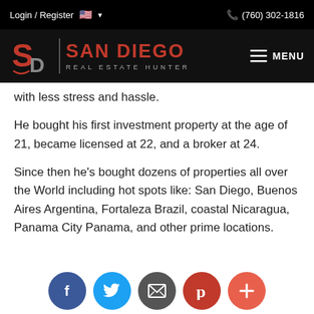Login / Register  🇺🇸 ▾   📞 (760) 302-1816
[Figure (logo): San Diego Real Estate Hunter logo with SD monogram, red text, and divider bar]
with less stress and hassle.
He bought his first investment property at the age of 21, became licensed at 22, and a broker at 24.
Since then he's bought dozens of properties all over the World including hot spots like: San Diego, Buenos Aires Argentina, Fortaleza Brazil, coastal Nicaragua, Panama City Panama, and other prime locations.
[Figure (infographic): Social share buttons: Facebook (blue), Twitter (light blue), Email (dark gray), Pinterest (red), Plus/share (orange-red)]